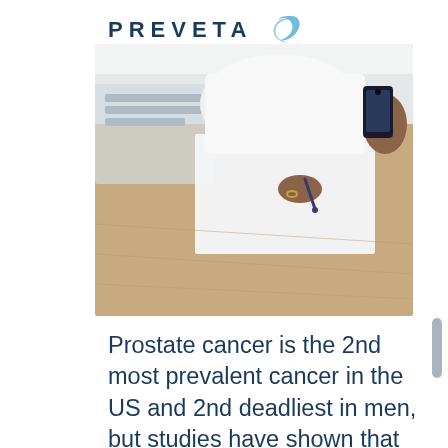PREVETA
[Figure (photo): A person in a white coat writing on paper at a wooden desk while holding a smartphone in their other hand, with a keyboard visible in the background.]
Prostate cancer is the 2nd most prevalent cancer in the US and 2nd deadliest in men, but studies have shown that early detection and early treatment are very effective in keeping